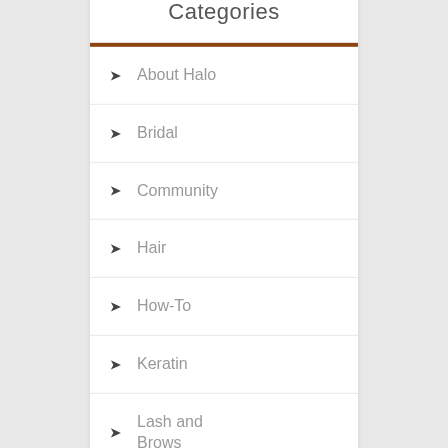Categories
About Halo
Bridal
Community
Hair
How-To
Keratin
Lash and Brows